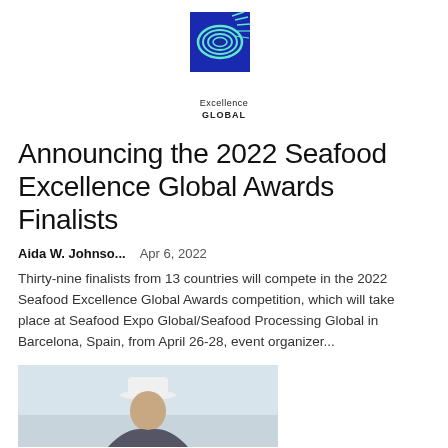[Figure (logo): Excellence Global logo: circular seafood/wave design in teal/mint on blue square background, with text 'Excellence GLOBAL' below]
Announcing the 2022 Seafood Excellence Global Awards Finalists
Aida W. Johnso...    Apr 6, 2022
Thirty-nine finalists from 13 countries will compete in the 2022 Seafood Excellence Global Awards competition, which will take place at Seafood Expo Global/Seafood Processing Global in Barcelona, Spain, from April 26-28, event organizer...
[Figure (photo): Partial photo of a person wearing a white cap, shown from approximately shoulders up, against a light sky background]